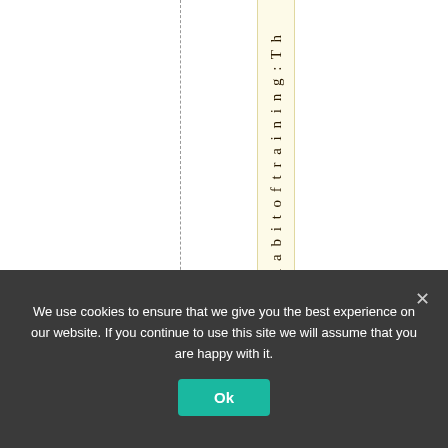[Figure (other): A vertical column with a yellowish/cream background containing rotated vertical text reading 'u a b i t o f t r a i n i n g : T h ...' — appears to be a table header or sidebar label rotated 90 degrees. A dashed vertical line appears to the left of the column.]
We use cookies to ensure that we give you the best experience on our website. If you continue to use this site we will assume that you are happy with it.